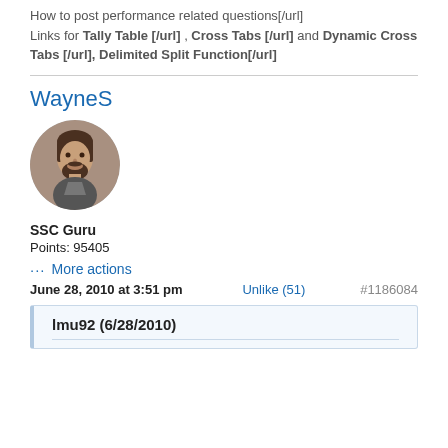How to post performance related questions[/url] Links for Tally Table [/url] , Cross Tabs [/url] and Dynamic Cross Tabs [/url], Delimited Split Function[/url]
WayneS
[Figure (photo): Circular profile photo of a man with dark beard and hair]
SSC Guru
Points: 95405
... More actions
June 28, 2010 at 3:51 pm   Unlike (51)   #1186084
lmu92 (6/28/2010)